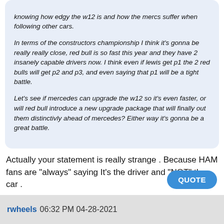knowing how edgy the w12 is and how the mercs suffer when following other cars.

In terms of the constructors championship I think it's gonna be really really close, red bull is so fast this year and they have 2 insanely capable drivers now. I think even if lewis get p1 the 2 red bulls will get p2 and p3, and even saying that p1 will be a tight battle.

Let's see if mercedes can upgrade the w12 so it's even faster, or will red bull introduce a new upgrade package that will finally out them distinctivly ahead of mercedes? Either way it's gonna be a great battle.
Actually your statement is really strange . Because HAM fans are "always" saying It's the driver and "NOT" the car .
QUOTE
rwheels 06:32 PM 04-28-2021